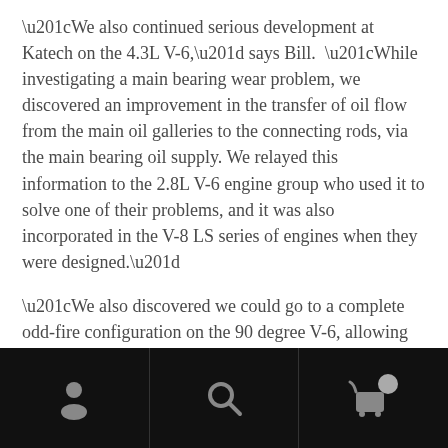“We also continued serious development at Katech on the 4.3L V-6,” says Bill. “While investigating a main bearing wear problem, we discovered an improvement in the transfer of oil flow from the main oil galleries to the connecting rods, via the main bearing oil supply. We relayed this information to the 2.8L V-6 engine group who used it to solve one of their problems, and it was also incorporated in the V-8 LS series of engines when they were designed.”
“We also discovered we could go to a complete odd-fire configuration on the 90 degree V-6, allowing us to run regular V-8 connecting rods side by side on a common rod journal. This gave us a firing sequence of 90-150 degrees allowing us to manufacture billet and steel
[Figure (other): Mobile navigation bar with three icons: person/user icon, search icon, and shopping cart icon with notification badge, on a black background]